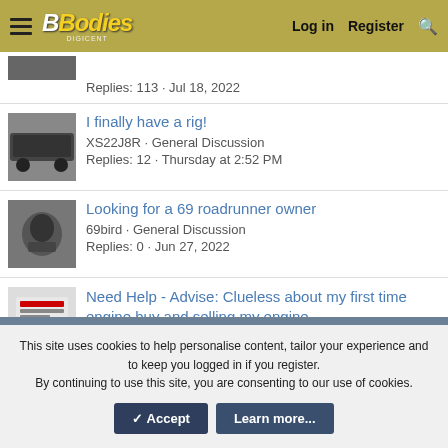Fin BBodies DIGICENT — Log in  Register
Replies: 113 · Jul 18, 2022
I finally have a rig!
XS22J8R · General Discussion
Replies: 12 · Thursday at 2:52 PM
Looking for a 69 roadrunner owner
69bird · General Discussion
Replies: 0 · Jun 27, 2022
Need Help - Advise: Clueless about my first time engine buy and selling my engine
Paul Boucher · General Discussion
Replies: 17 · Jul 25, 2022
This site uses cookies to help personalise content, tailor your experience and to keep you logged in if you register.
By continuing to use this site, you are consenting to our use of cookies.